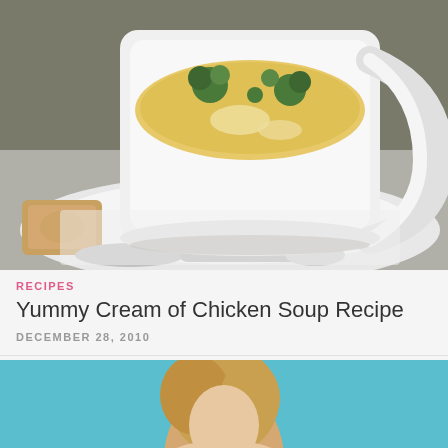[Figure (photo): A white ceramic mug filled with cream of chicken soup topped with broccoli florets, served on a white plate with a silver spoon and a slice of bread on the side, on a wooden table.]
RECIPES
Yummy Cream of Chicken Soup Recipe
DECEMBER 28, 2010
[Figure (photo): Partial photo of a person with blonde hair against a teal/blue background, cropped at the bottom of the page.]